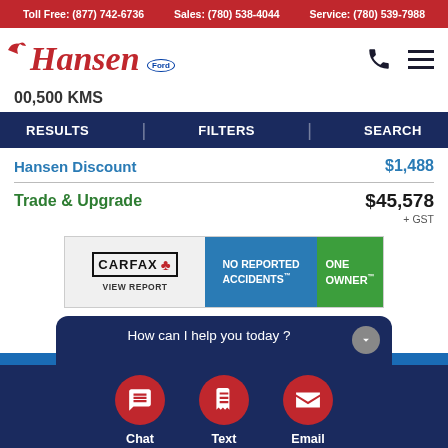Toll Free: (877) 742-6736  Sales: (780) 538-4044  Service: (780) 539-7988
[Figure (logo): Hansen Ford dealership logo in red italic script with Ford oval badge and bird icon]
00,500 KMS
RESULTS  FILTERS  SEARCH
Hansen Discount  $1,488
Trade & Upgrade  $45,578  + GST
[Figure (screenshot): CARFAX Canada banner showing: NO REPORTED ACCIDENTS, ONE OWNER, VIEW REPORT]
How can I help you today ?
Chat  Text  Email